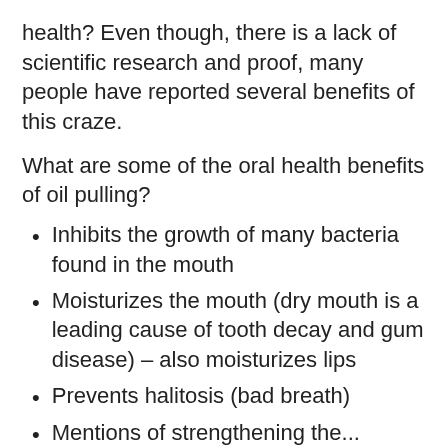health? Even though, there is a lack of scientific research and proof, many people have reported several benefits of this craze.
What are some of the oral health benefits of oil pulling?
Inhibits the growth of many bacteria found in the mouth
Moisturizes the mouth (dry mouth is a leading cause of tooth decay and gum disease) – also moisturizes lips
Prevents halitosis (bad breath)
Mentions of strengthening teeth...